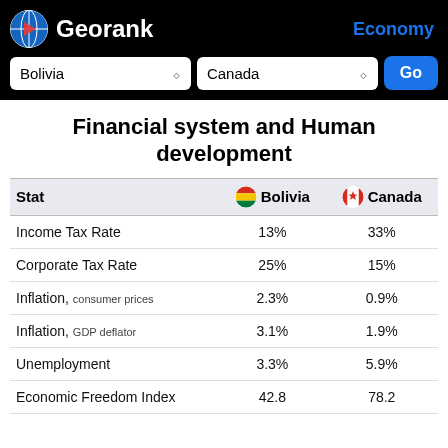Georank — Economy
Financial system and Human development
| Stat | Bolivia | Canada |
| --- | --- | --- |
| Income Tax Rate | 13% | 33% |
| Corporate Tax Rate | 25% | 15% |
| Inflation, consumer prices | 2.3% | 0.9% |
| Inflation, GDP deflator | 3.1% | 1.9% |
| Unemployment | 3.3% | 5.9% |
| Economic Freedom Index | 42.8 | 78.2 |